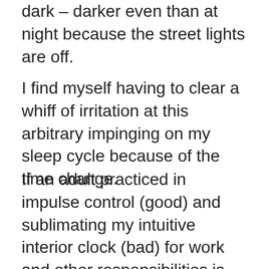dark – darker even than at night because the street lights are off.
I find myself having to clear a whiff of irritation at this arbitrary impinging on my sleep cycle because of the time change.
If an adult practiced in impulse control (good) and sublimating my intuitive interior clock (bad) for work and other responsibilities is irritated by this, imagine how a child or teen feels.